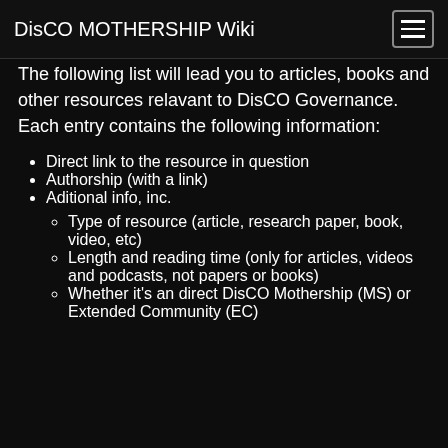DisCO MOTHERSHIP Wiki
The following list will lead you to articles, books and other resources relavant to DisCO Governance. Each entry contains the following information:
Direct link to the resource in question
Authorship (with a link)
Aditional info, inc.
Type of resource (article, research paper, book, video, etc)
Length and reading time (only for articles, videos and podcasts, not papers or books)
Whether it's an direct DisCO Mothership (MS) or Extended Community (EC)